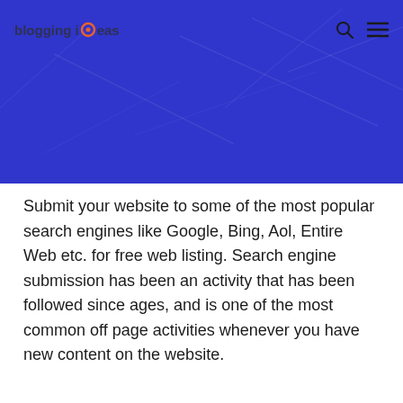blogging ideas
[Figure (illustration): Dark blue hero banner background with subtle geometric line patterns]
Submit your website to some of the most popular search engines like Google, Bing, Aol, Entire Web etc. for free web listing. Search engine submission has been an activity that has been followed since ages, and is one of the most common off page activities whenever you have new content on the website.